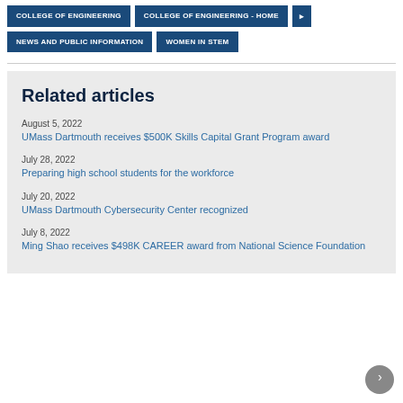COLLEGE OF ENGINEERING | COLLEGE OF ENGINEERING - HOME | NEWS AND PUBLIC INFORMATION | WOMEN IN STEM
Related articles
August 5, 2022
UMass Dartmouth receives $500K Skills Capital Grant Program award
July 28, 2022
Preparing high school students for the workforce
July 20, 2022
UMass Dartmouth Cybersecurity Center recognized
July 8, 2022
Ming Shao receives $498K CAREER award from National Science Foundation